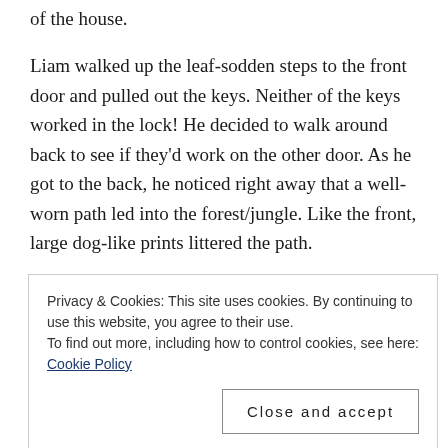of the house.
Liam walked up the leaf-sodden steps to the front door and pulled out the keys. Neither of the keys worked in the lock! He decided to walk around back to see if they'd work on the other door. As he got to the back, he noticed right away that a well-worn path led into the forest/jungle. Like the front, large dog-like prints littered the path.
Liam sighed in relief when the back door opened to one of the keys. He stepped into a stately home that must have cost a fortune to build on the area's island, and it was done. Each room was decorated top-to-bottom with expensive stuff and had a massive stone fireplace.
Privacy & Cookies: This site uses cookies. By continuing to use this website, you agree to their use.
To find out more, including how to control cookies, see here: Cookie Policy
Close and accept